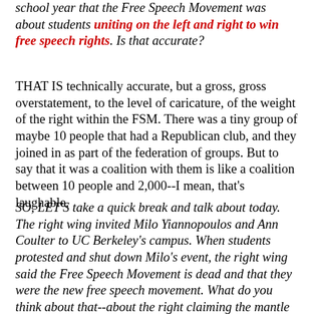school year that the Free Speech Movement was about students uniting on the left and right to win free speech rights. Is that accurate?
THAT IS technically accurate, but a gross, gross overstatement, to the level of caricature, of the weight of the right within the FSM. There was a tiny group of maybe 10 people that had a Republican club, and they joined in as part of the federation of groups. But to say that it was a coalition with them is like a coalition between 10 people and 2,000--I mean, that's laughable.
SO, LET'S take a quick break and talk about today. The right wing invited Milo Yiannopoulos and Ann Coulter to UC Berkeley's campus. When students protested and shut down Milo's event, the right wing said the Free Speech Movement is dead and that they were the new free speech movement. What do you think about that--about the right claiming the mantle of free speech?